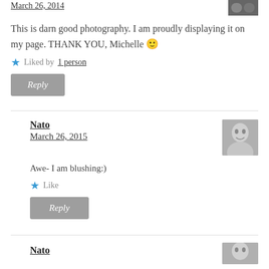March 26, 2014 (date, top, partially visible)
This is darn good photography. I am proudly displaying it on my page. THANK YOU, Michelle 🙂
★ Liked by 1 person
Reply
Nato
March 26, 2015
Awe- I am blushing:)
★ Like
Reply
Nato